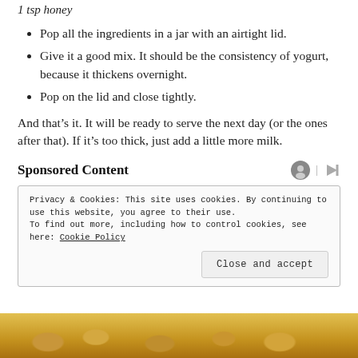1 tsp honey
Pop all the ingredients in a jar with an airtight lid.
Give it a good mix. It should be the consistency of yogurt, because it thickens overnight.
Pop on the lid and close tightly.
And that’s it. It will be ready to serve the next day (or the ones after that). If it’s too thick, just add a little more milk.
Sponsored Content
Privacy & Cookies: This site uses cookies. By continuing to use this website, you agree to their use.
To find out more, including how to control cookies, see here: Cookie Policy
[Figure (photo): Photo of food items, appears to show baked or pastry items in warm golden/yellow tones at the bottom of the page]